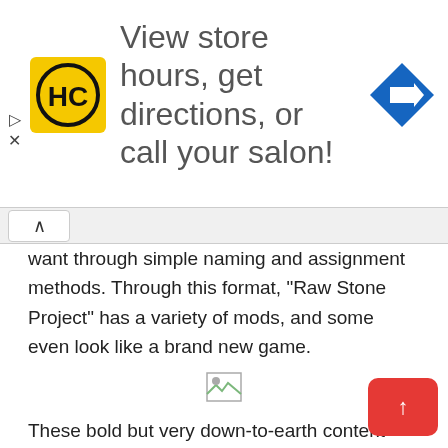[Figure (other): Advertisement banner with HC logo (yellow square with HC text in black circle), text 'View store hours, get directions, or call your salon!', and a blue diamond navigation arrow icon on the right. Play and close controls on the left edge.]
…they want through simple naming and assignment methods. Through this format, “Raw Stone Project” has a variety of mods, and some even look like a brand new game.
[Figure (other): Broken/missing image placeholder icon]
These bold but very down-to-earth content attempts are seldom tried by general commercial products, and they are naturally the highlights.
But there is no doubt that these “one-person games” have become a brand new force in China, and they are